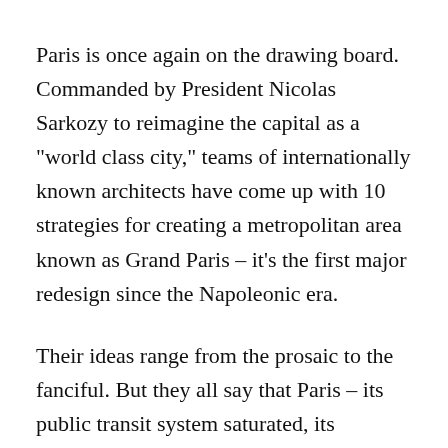Paris is once again on the drawing board. Commanded by President Nicolas Sarkozy to reimagine the capital as a "world class city," teams of internationally known architects have come up with 10 strategies for creating a metropolitan area known as Grand Paris – it's the first major redesign since the Napoleonic era.
Their ideas range from the prosaic to the fanciful. But they all say that Paris – its public transit system saturated, its periphery spoiled by ugly housing projects, and its suburbs an undefined sprawl of disconnected towns – does not work.